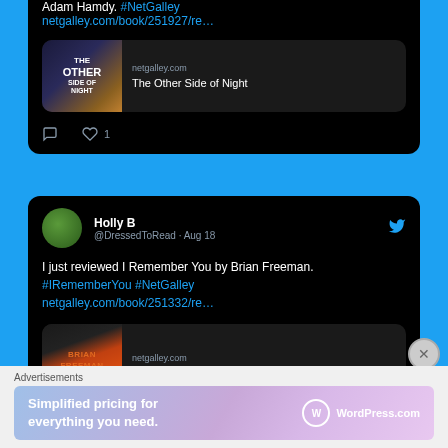[Figure (screenshot): Partial tweet showing text 'Adam Hamdy. #NetGalley netgalley.com/book/251927/re…' with a book preview card for 'The Other Side of Night' from netgalley.com, and like/comment action icons with 1 like.]
[Figure (screenshot): Tweet by Holly B (@DressedToRead · Aug 18) saying 'I just reviewed I Remember You by Brian Freeman. #IRememberYou #NetGalley netgalley.com/book/251332/re…' with a partial book preview card showing 'BRIAN FREEMAN' cover and netgalley.com text.]
Advertisements
[Figure (screenshot): WordPress.com advertisement banner: 'Simplified pricing for everything you need.' with WordPress.com logo.]